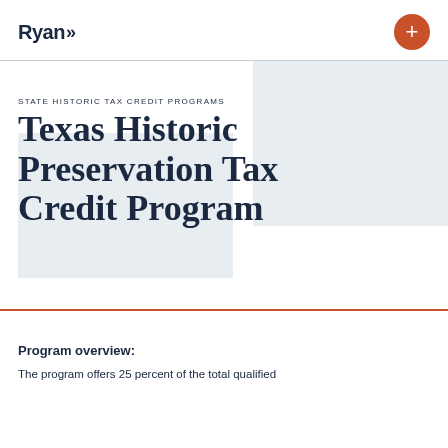Ryan
STATE HISTORIC TAX CREDIT PROGRAMS
Texas Historic Preservation Tax Credit Program
Program overview:
The program offers 25 percent of the total qualified